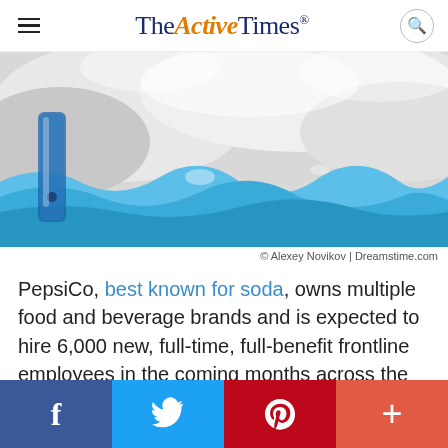TheActiveTimes
[Figure (photo): Close-up photo of liquid splashing — appears to be water or carbonated beverage with blue and white tones, possibly a Pepsi can visible at left edge.]
© Alexey Novikov | Dreamstime.com
PepsiCo, best known for soda, owns multiple food and beverage brands and is expected to hire 6,000 new, full-time, full-benefit frontline employees in the coming months across the United States. Current employees will receive enhanced benefits and additional compensation.